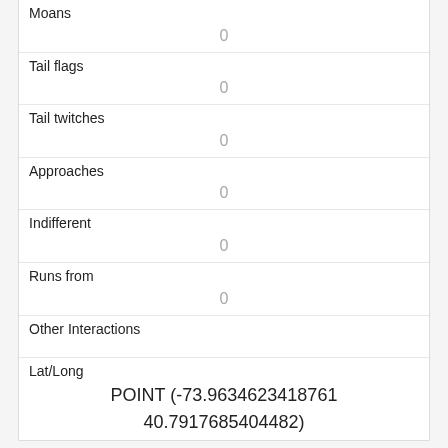| Moans | 0 |
| Tail flags | 0 |
| Tail twitches | 0 |
| Approaches | 0 |
| Indifferent | 0 |
| Runs from | 0 |
| Other Interactions |  |
| Lat/Long | POINT (-73.9634623418761 40.7917685404482) |
| Link | 108 |
| rowid | 108 |